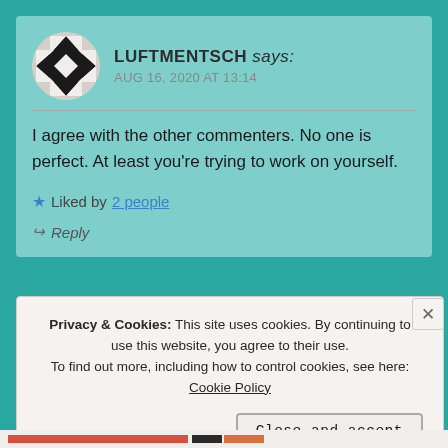[Figure (illustration): Avatar with black and white diamond/triangle pattern in a circle]
LUFTMENTSCH says:
AUG 16, 2020 AT 13:14
I agree with the other commenters. No one is perfect. At least you're trying to work on yourself.
★ Liked by 2 people
↪ Reply
Privacy & Cookies: This site uses cookies. By continuing to use this website, you agree to their use.
To find out more, including how to control cookies, see here: Cookie Policy
Close and accept